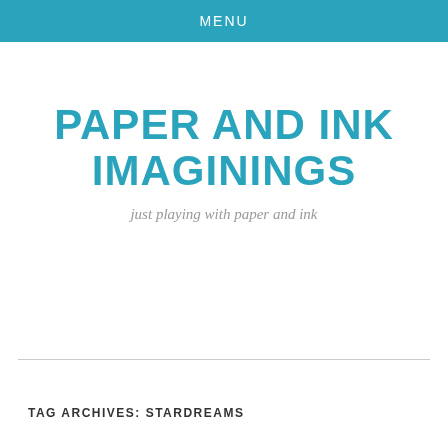MENU
PAPER AND INK IMAGININGS
just playing with paper and ink
TAG ARCHIVES: STARDREAMS